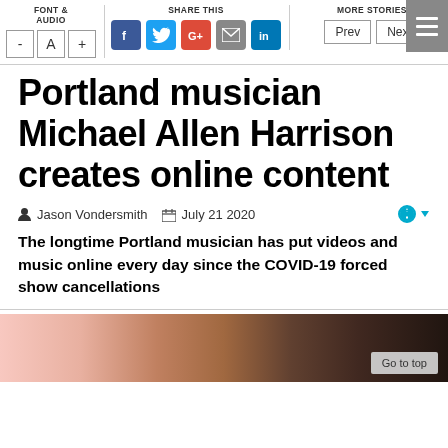FONT & AUDIO | SHARE THIS | MORE STORIES
Portland musician Michael Allen Harrison creates online content
Jason Vondersmith   July 21 2020
The longtime Portland musician has put videos and music online every day since the COVID-19 forced show cancellations
[Figure (photo): Partial photo of musician in a dimly lit setting with instruments visible]